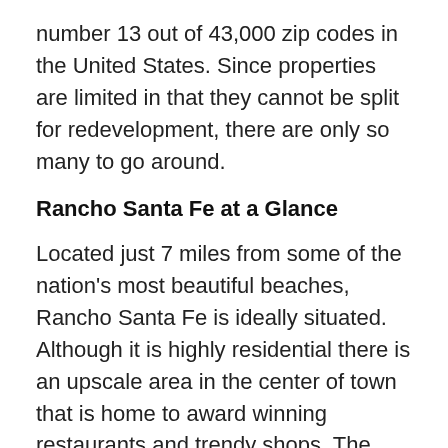number 13 out of 43,000 zip codes in the United States. Since properties are limited in that they cannot be split for redevelopment, there are only so many to go around.
Rancho Santa Fe at a Glance
Located just 7 miles from some of the nation's most beautiful beaches, Rancho Santa Fe is ideally situated. Although it is highly residential there is an upscale area in the center of town that is home to award winning restaurants and trendy shops. The schools in Rancho Santa Fe have collectively set records for excellence in education, with two honorable mentions being the number one ranked Covenant School, R. Roger Rowe School and